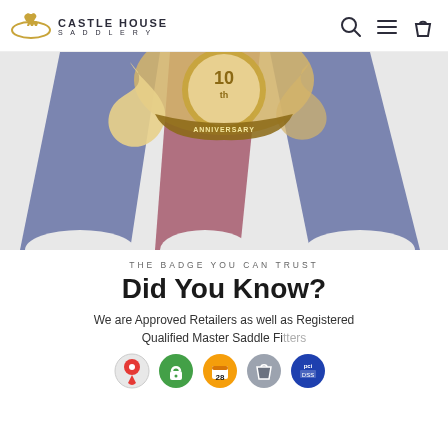CASTLE HOUSE SADDLERY
[Figure (illustration): Anniversary rosette/ribbon award badge with blue, mauve/pink and white ribbon tails, gold ornamental top with '10th ANNIVERSARY' banner text]
THE BADGE YOU CAN TRUST
Did You Know?
We are Approved Retailers as well as Registered Qualified Master Saddle Fitters
[Figure (infographic): Row of app/web icons: Google Maps pin (red), green padlock/security icon, orange calendar icon (28), grey Shopify bag icon, blue PCI compliance icon]